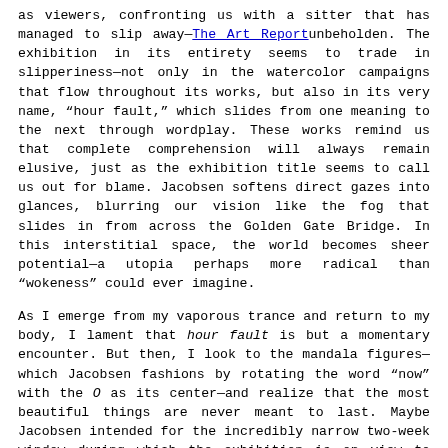The Art Report
as viewers, confronting us with a sitter that has managed to slip away unbeholden. The exhibition in its entirety seems to trade in slipperiness—not only in the watercolor campaigns that flow throughout its works, but also in its very name, “hour fault,” which slides from one meaning to the next through wordplay. These works remind us that complete comprehension will always remain elusive, just as the exhibition title seems to call us out for blame. Jacobsen softens direct gazes into glances, blurring our vision like the fog that slides in from across the Golden Gate Bridge. In this interstitial space, the world becomes sheer potential—a utopia perhaps more radical than “wokeness” could ever imagine.
As I emerge from my vaporous trance and return to my body, I lament that hour fault is but a momentary encounter. But then, I look to the mandala figures—which Jacobsen fashions by rotating the word “now” with the O as its center—and realize that the most beautiful things are never meant to last. Maybe Jacobsen intended for the incredibly narrow two-week window during which the exhibition is on view to impart this valuable lesson. I tiptoe out of the gallery, careful not to break the